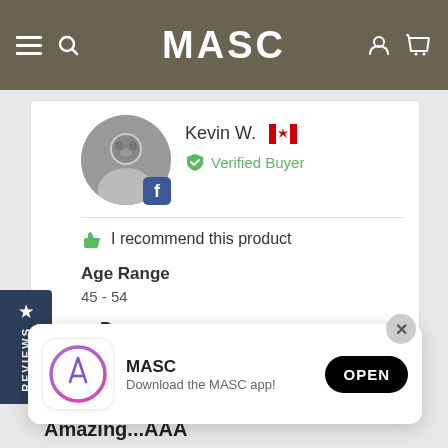MASC
Kevin W. 🇨🇦
Verified Buyer
I recommend this product
Age Range
45 - 54
Pros
moisturizes, non-greasy, smells great, softens skin, long lasting
[Figure (screenshot): App store banner overlay with MASC app icon, name, description 'Download the MASC app!' and OPEN button]
Amazing...AAA